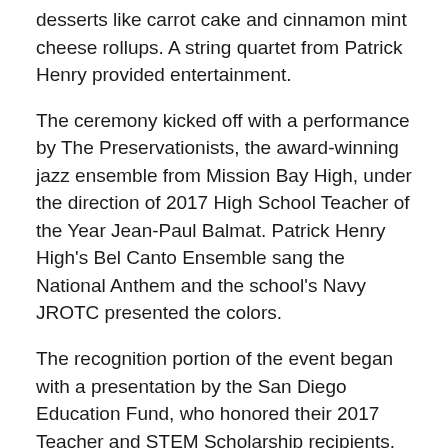desserts like carrot cake and cinnamon mint cheese rollups. A string quartet from Patrick Henry provided entertainment.
The ceremony kicked off with a performance by The Preservationists, the award-winning jazz ensemble from Mission Bay High, under the direction of 2017 High School Teacher of the Year Jean-Paul Balmat. Patrick Henry High's Bel Canto Ensemble sang the National Anthem and the school's Navy JROTC presented the colors.
The recognition portion of the event began with a presentation by the San Diego Education Fund, who honored their 2017 Teacher and STEM Scholarship recipients. Teacher scholarship recipients plan to pursue a career in teaching and return to San Diego Unified following graduation. STEM scholarship recipients are pursuing degrees in the STEM fields.
Following the student presentation, the 2017 Teachers of the Year were recognized with awards and video